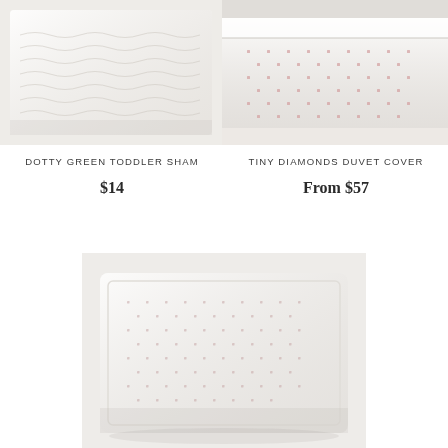[Figure (photo): Close-up of a white textured pillow sham with wavy stitching pattern — Dotty Green Toddler Sham product image]
[Figure (photo): Close-up of a white fabric with tiny pink/red diamond dot pattern stacked on itself — Tiny Diamonds Duvet Cover product image]
DOTTY GREEN TODDLER SHAM
$14
TINY DIAMONDS DUVET COVER
From $57
[Figure (photo): Overhead view of a white pillow sham with tiny dot/diamond pattern, slightly folded, on a light background — Tiny Diamonds product photo]